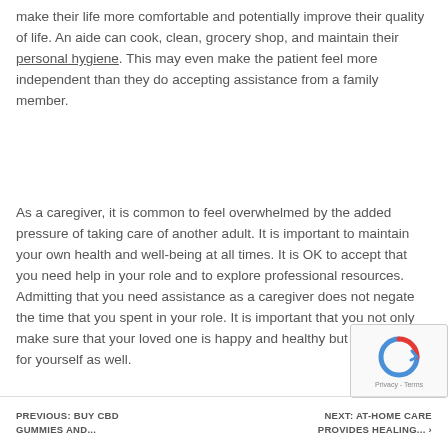make their life more comfortable and potentially improve their quality of life. An aide can cook, clean, grocery shop, and maintain their personal hygiene. This may even make the patient feel more independent than they do accepting assistance from a family member.
As a caregiver, it is common to feel overwhelmed by the added pressure of taking care of another adult. It is important to maintain your own health and well-being at all times. It is OK to accept that you need help in your role and to explore professional resources. Admitting that you need assistance as a caregiver does not negate the time that you spent in your role. It is important that you not only make sure that your loved one is happy and healthy but do the same for yourself as well.
PREVIOUS: BUY CBD GUMMIES AND... | NEXT: AT-HOME CARE PROVIDES HEALING...